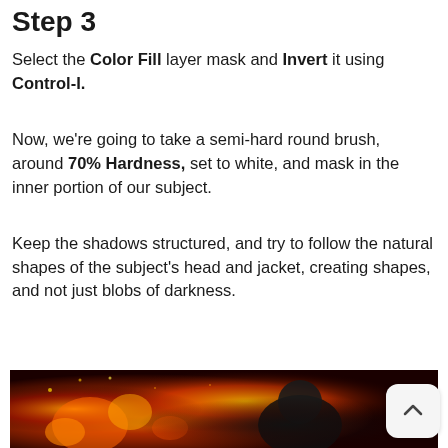Step 3
Select the Color Fill layer mask and Invert it using Control-I.
Now, we're going to take a semi-hard round brush, around 70% Hardness, set to white, and mask in the inner portion of our subject.
Keep the shadows structured, and try to follow the natural shapes of the subject's head and jacket, creating shapes, and not just blobs of darkness.
[Figure (photo): Dark photo showing a figure with dramatic fire/orange light effects in the background, mostly dark with warm glowing tones.]